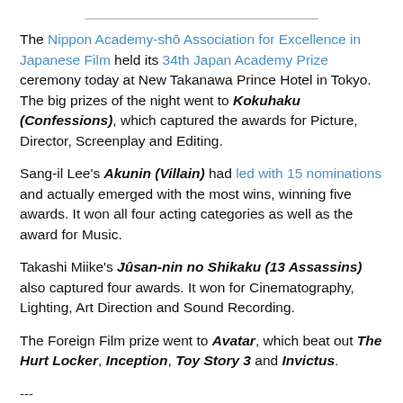The Nippon Academy-shō Association for Excellence in Japanese Film held its 34th Japan Academy Prize ceremony today at New Takanawa Prince Hotel in Tokyo. The big prizes of the night went to Kokuhaku (Confessions), which captured the awards for Picture, Director, Screenplay and Editing.
Sang-il Lee's Akunin (Villain) had led with 15 nominations and actually emerged with the most wins, winning five awards. It won all four acting categories as well as the award for Music.
Takashi Miike's Jûsan-nin no Shikaku (13 Assassins) also captured four awards. It won for Cinematography, Lighting, Art Direction and Sound Recording.
The Foreign Film prize went to Avatar, which beat out The Hurt Locker, Inception, Toy Story 3 and Invictus.
---
Complete list of 34th Japan Academy Prize winners